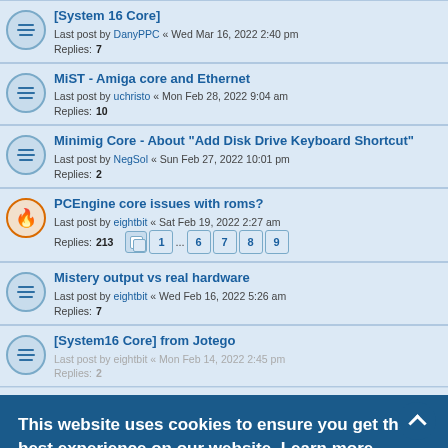[System 16 Core] — Last post by DanyPPC « Wed Mar 16, 2022 2:40 pm — Replies: 7
MiST - Amiga core and Ethernet — Last post by uchristo « Mon Feb 28, 2022 9:04 am — Replies: 10
Minimig Core - About "Add Disk Drive Keyboard Shortcut" — Last post by NegSol « Sun Feb 27, 2022 10:01 pm — Replies: 2
PCEngine core issues with roms? — Last post by eightbit « Sat Feb 19, 2022 2:27 am — Replies: 213 — Pages: 1 … 6 7 8 9
Mistery output vs real hardware — Last post by eightbit « Wed Feb 16, 2022 5:26 am — Replies: 7
[System16 Core] from Jotego — Last post by eightbit « Mon Feb 14, 2022 2:45 pm — Replies: 2
friend to MiST and don't know where to go
SMS core — Last post by eightbit « Fri Feb 11, 2022 7:13 pm — Replies: 2 — Pages: 1 2 3 4 5
Mister SNES port to MiST possible? — Last post by eightbit « Fri Feb 11, 2022 6:05 pm
This website uses cookies to ensure you get the best experience on our website. Learn more
Got it!